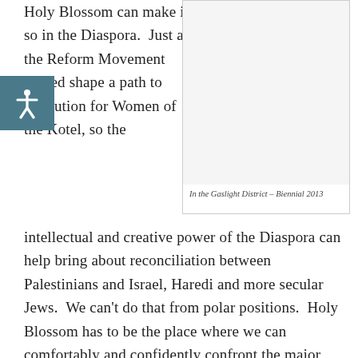Holy Blossom can make it so in the Diaspora.  Just as the Reform Movement helped shape a path to resolution for Women of the Kotel, so the
[Figure (illustration): Framed image placeholder with caption 'In the Gaslight District – Biennial 2013']
In the Gaslight District – Biennial 2013
intellectual and creative power of the Diaspora can help bring about reconciliation between Palestinians and Israel, Haredi and more secular Jews.  We can't do that from polar positions.  Holy Blossom has to be the place where we can comfortably and confidently confront the major issues of our time.  It is the power of our diversity that can give us standing. It distresses me to receive calls and messages to the effect